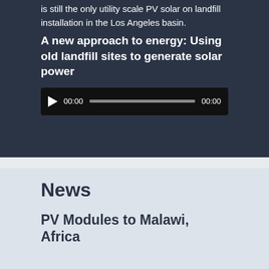is still the only utility scale PV solar on landfill installation in operation in the Los Angeles basin.
A new approach to energy: Using old landfill sites to generate solar power
[Figure (other): Audio player widget with play button, start time 00:00, progress bar, and end time 00:00]
News
PV Modules to Malawi, Africa